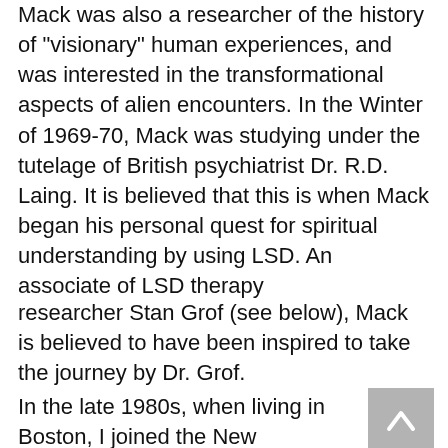Mack was also a researcher of the history of "visionary" human experiences, and was interested in the transformational aspects of alien encounters. In the Winter of 1969-70, Mack was studying under the tutelage of British psychiatrist Dr. R.D. Laing. It is believed that this is when Mack began his personal quest for spiritual understanding by using LSD. An associate of LSD therapy
researcher Stan Grof (see below), Mack is believed to have been inspired to take the journey by Dr. Grof.
In the late 1980s, when living in Boston, I joined the New England Skeptics association. Though a "believer" in ET, I enjoyed the input of "critical thinkers" and a dialog with those who were not "believers." We